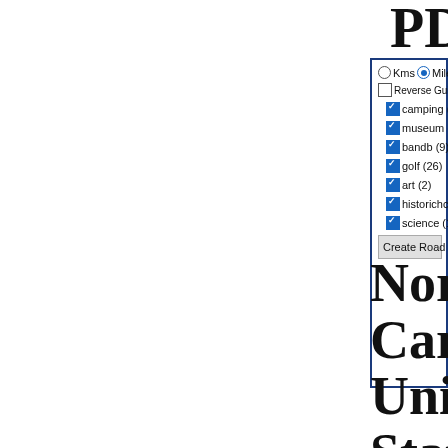PDF
Kms  Miles
Reverse Guide D
camping (
museum (
bandb (9)
golf (26)
art (2)
historichc
science (1
Create Road Trip
North Carolina, United States